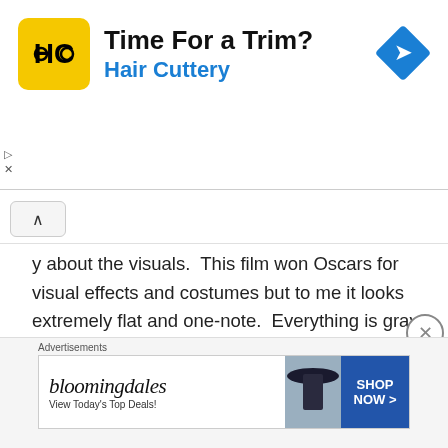[Figure (screenshot): Hair Cuttery advertisement banner with yellow logo, 'Time For a Trim?' headline, 'Hair Cuttery' subtitle in blue, and a blue navigation/directions diamond icon on the right. Small play and close (X) controls on the left edge.]
y about the visuals.  This film won Oscars for visual effects and costumes but to me it looks extremely flat and one-note.  Everything is gray and brown and a lot of it can feel quite garish and gross (how about the mote of heads...). I can see why they are pleasing to some palates but to me it is completely bland and seen it a million times. To me it is remarkable that Mary Blair with essentially black backgrounds gets more creativity and better world building in the animated film than all of this 2010 version accomplishes.
[Figure (screenshot): Bloomingdale's advertisement banner showing the Bloomingdale's logo in cursive, 'View Today's Top Deals!' text, a woman wearing a large hat, and 'SHOP NOW >' button in blue.]